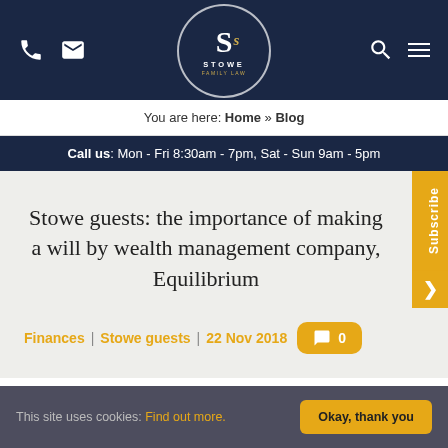[Figure (logo): Stowe Family Law logo — circular dark navy badge with stylized S and gold accent, STOWE text, FAMILY LAW subtitle]
You are here: Home » Blog
Call us: Mon - Fri 8:30am - 7pm, Sat - Sun 9am - 5pm
Stowe guests: the importance of making a will by wealth management company, Equilibrium
Finances | Stowe guests | 22 Nov 2018   0
This site uses cookies: Find out more.   Okay, thank you